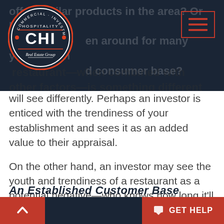[Figure (logo): CHI Real Estate Group circular logo with Commercial Investment Hospitality text around the border, CHI in large letters in center, on dark navy background]
offer similar products in the area? Or has the restaurant been around for many years and has an established consumer base?
The age of a restaurant—when combined with other factors—is something different investors will see differently. Perhaps an investor is enticed with the trendiness of your establishment and sees it as an added value to their appraisal.
On the other hand, an investor may see the youth and trendiness of a restaurant as a potential negative—who knows how long it'll last—or if it will remain profitable for years to come? A longstanding business with an established, proven method may be more desirable for some.
An Established Customer Base